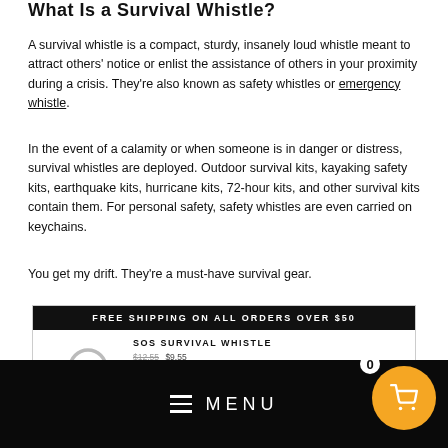What Is a Survival Whistle?
A survival whistle is a compact, sturdy, insanely loud whistle meant to attract others' notice or enlist the assistance of others in your proximity during a crisis. They're also known as safety whistles or emergency whistle.
In the event of a calamity or when someone is in danger or distress, survival whistles are deployed. Outdoor survival kits, kayaking safety kits, earthquake kits, hurricane kits, 72-hour kits, and other survival kits contain them. For personal safety, safety whistles are even carried on keychains.
You get my drift. They're a must-have survival gear.
[Figure (screenshot): Product advertisement box with dark banner reading 'FREE SHIPPING ON ALL ORDERS OVER $50', product image of a keychain whistle, title 'SOS SURVIVAL WHISTLE', prices $12.55 and $9.55, features: Free 45 Day Returns, Fast Shipping USA wide, In stock, ready to ship]
[Figure (screenshot): Mobile navigation bar overlay with hamburger menu icon and MENU text on dark background, orange cart button with shopping cart icon, cart count badge showing 0]